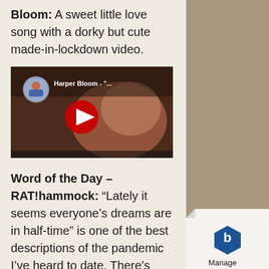Bloom: A sweet little love song with a dorky but cute made-in-lockdown video.
[Figure (screenshot): YouTube video thumbnail for Harper Bloom with red play button overlay]
Word of the Day – RAT!hammock:
“Lately it seems everyone’s dreams are in half-time” is one of the best descriptions of the pandemic I’ve heard to date. There’s plenty of other good lyrics and an equally good tune, but it’s